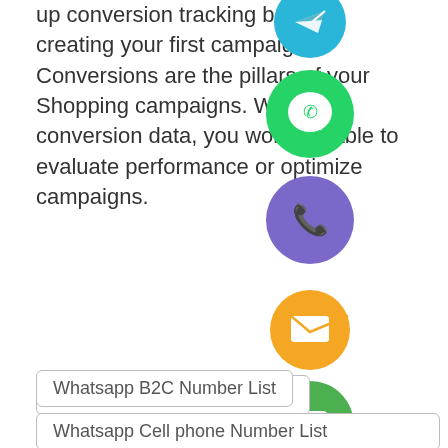up conversion tracking before creating your first campaign? Conversions are the pillars of your Shopping campaigns. Without conversion data, you won't be able to evaluate performance or optimize campaigns.
[Figure (illustration): Vertical column of social media / messaging app icons: Telegram (blue), WhatsApp (green), Viber/phone (purple), email/envelope (orange), LINE (green), Viber (purple), green plus button]
Whatsapp B2C Number List
Whatsapp Cell phone Number List
Whatsapp Contact Number List
Whatsapp Mobile Number List
WhatsApp number database